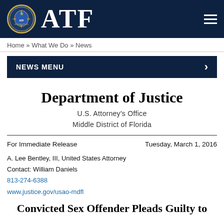ATF
Home » What We Do » News
NEWS MENU
Department of Justice
U.S. Attorney's Office
Middle District of Florida
For Immediate Release
Tuesday, March 1, 2016
A. Lee Bentley, III, United States Attorney
Contact: William Daniels
813-274-6388
www.justice.gov/usao-mdfl
Convicted Sex Offender Pleads Guilty to